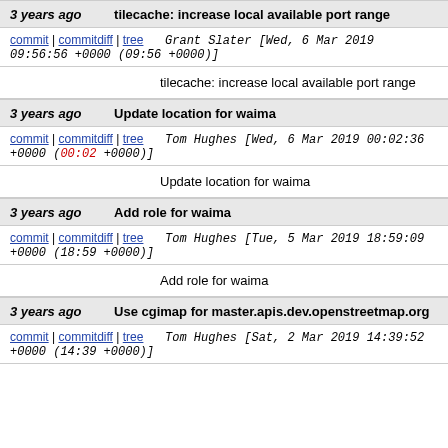3 years ago | tilecache: increase local available port range
commit | commitdiff | tree   Grant Slater [Wed, 6 Mar 2019 09:56:56 +0000 (09:56 +0000)]
tilecache: increase local available port range
3 years ago | Update location for waima
commit | commitdiff | tree   Tom Hughes [Wed, 6 Mar 2019 00:02:36 +0000 (00:02 +0000)]
Update location for waima
3 years ago | Add role for waima
commit | commitdiff | tree   Tom Hughes [Tue, 5 Mar 2019 18:59:09 +0000 (18:59 +0000)]
Add role for waima
3 years ago | Use cgimap for master.apis.dev.openstreetmap.org
commit | commitdiff | tree   Tom Hughes [Sat, 2 Mar 2019 14:39:52 +0000 (14:39 +0000)]